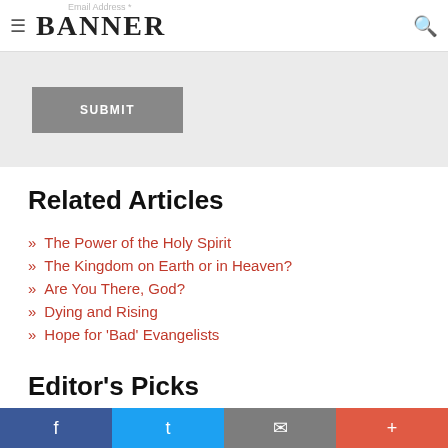BANNER
SUBMIT
Related Articles
The Power of the Holy Spirit
The Kingdom on Earth or in Heaven?
Are You There, God?
Dying and Rising
Hope for 'Bad' Evangelists
Editor's Picks
Facebook | Twitter | Email | More